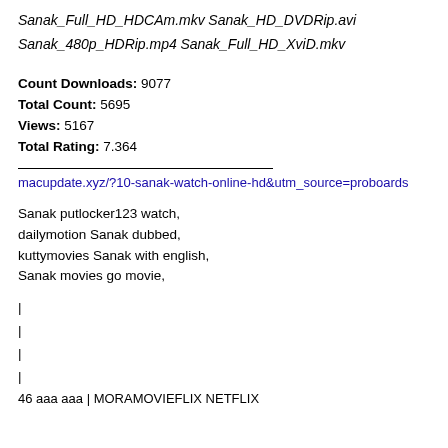Sanak_Full_HD_HDCAm.mkv
Sanak_HD_DVDRip.avi
Sanak_480p_HDRip.mp4
Sanak_Full_HD_XviD.mkv
Count Downloads: 9077
Total Count: 5695
Views: 5167
Total Rating: 7.364
macupdate.xyz/?10-sanak-watch-online-hd&utm_source=proboards
Sanak putlocker123 watch,
dailymotion Sanak dubbed,
kuttymovies Sanak with english,
Sanak movies go movie,
|
|
|
|
46 aaa aaa | MORAMOVIEFLIX NETFLIX